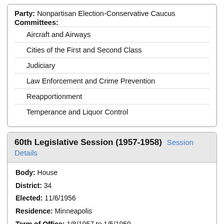Party: Nonpartisan Election-Conservative Caucus
Committees:
Aircraft and Airways
Cities of the First and Second Class
Judiciary
Law Enforcement and Crime Prevention
Reapportionment
Temperance and Liquor Control
60th Legislative Session (1957-1958) Session Details
Body: House
District: 34
Elected: 11/6/1956
Residence: Minneapolis
Term of Office: 1/8/1957 to 1/5/1959
Counties Represented: Hennepin
Occupation: Lawyer, Firm of Wright and Storlie
Party: Nonpartisan Election-Conservative Caucus